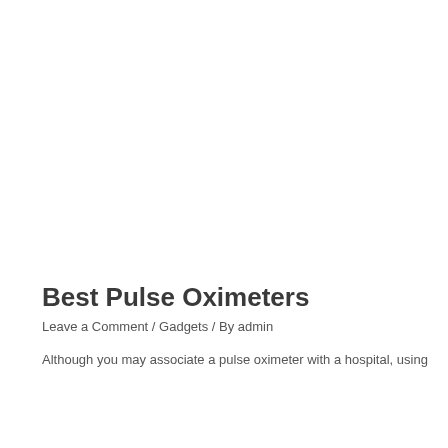Best Pulse Oximeters
Leave a Comment / Gadgets / By admin
Although you may associate a pulse oximeter with a hospital, using